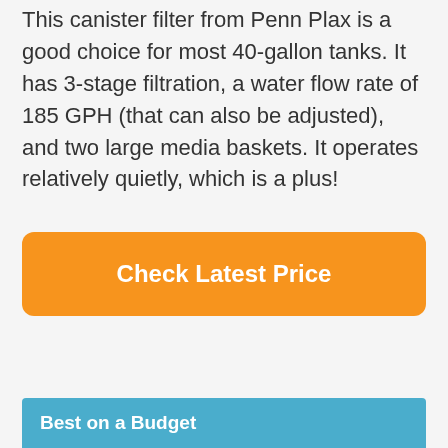This canister filter from Penn Plax is a good choice for most 40-gallon tanks. It has 3-stage filtration, a water flow rate of 185 GPH (that can also be adjusted), and two large media baskets. It operates relatively quietly, which is a plus!
[Figure (other): Orange rounded rectangle button with white bold text 'Check Latest Price']
Best on a Budget